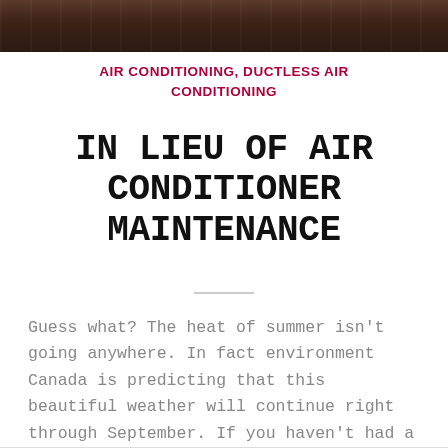[Figure (photo): Dark brown wooden background photo strip at the top of the page]
AIR CONDITIONING, DUCTLESS AIR CONDITIONING
IN LIEU OF AIR CONDITIONER MAINTENANCE
Guess what? The heat of summer isn't going anywhere. In fact environment Canada is predicting that this beautiful weather will continue right through September. If you haven't had a chance to call a professional HVAC technician to take care...